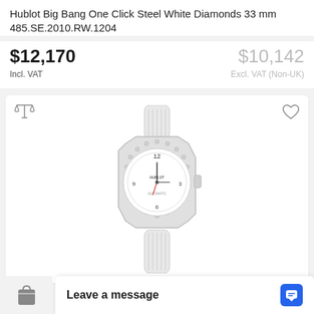Hublot Big Bang One Click Steel White Diamonds 33 mm 485.SE.2010.RW.1204
$12,170 Incl. VAT
$10,142 Excl. VAT (Non-UK)
[Figure (photo): Hublot Big Bang One Click Steel White Diamonds 33mm watch with diamond-set bezel and white rubber strap on white background]
Leave a message